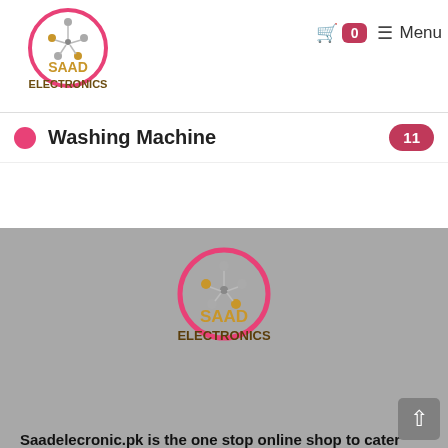[Figure (logo): Saad Electronics logo — pink circle with molecule graphic, SAAD in gold, ELECTRONICS in dark brown/olive]
≡ Menu  🛒 0
Washing Machine  11
[Figure (logo): Saad Electronics logo in footer — pink circle with molecule graphic, SAAD in gold, ELECTRONICS in dark brown/olive]
Saadelecronic.pk is the one stop online shop to cater your's home appliances need.